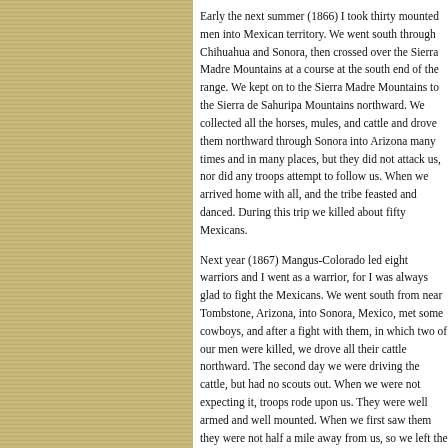Early the next summer (1866) I took thirty mounted men into Mexican territory. We went south through Chihuahua and Sonora, then crossed over the Sierra Madre Mountains at a course at the south end of the range. We kept on to the Sierra Madre Mountains to the Sierra de Sahuripa Mountains northward. We collected all the horses, mules, and cattle and drove them northward through Sonora into Arizona many times and in many places, but they did not attack us, nor did any troops attempt to follow us. When we arrived home with all, and the tribe feasted and danced. During this trip we killed about fifty Mexicans.
Next year (1867) Mangus-Colorado led eight warriors and I went as a warrior, for I was always glad to fight the Mexicans. We went south from near Tombstone, Arizona, into Sonora, Mexico, met some cowboys, and after a fight with them, in which two of our men were killed, we drove all their cattle northward. The second day we were driving the cattle, but had no scouts out. When we were not expecting it, troops rode upon us. They were well armed and well mounted. When we first saw them they were not half a mile away from us, so we left the cattle and rode as hard as we could toward the mountains, but they gained rapidly. Soon they opened fire, but were so far away that we were unable to reach them with our arrows; finally we reached the mountains, leaving our ponies, fought from cover. Then the Mexicans took our ponies, and rode away across the plains toward Sonora, driving the cattle with them. We stood and watched them until they were out of distance, and then took up our search for home.
We arrived home in five days with no victory to rep